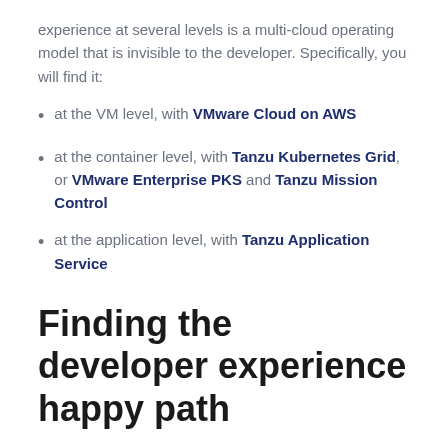experience at several levels is a multi-cloud operating model that is invisible to the developer. Specifically, you will find it:
at the VM level, with VMware Cloud on AWS
at the container level, with Tanzu Kubernetes Grid, or VMware Enterprise PKS and Tanzu Mission Control
at the application level, with Tanzu Application Service
Finding the developer experience happy path